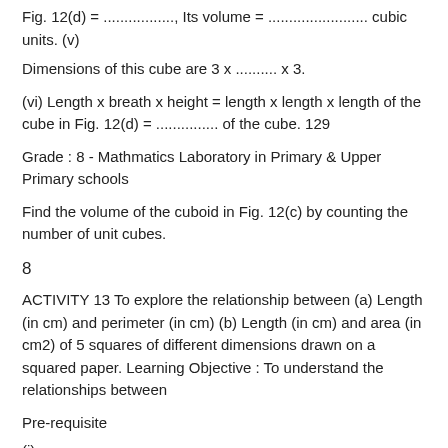Fig. 12(d) = ................., Its volume = ........................ cubic units. (v)
Dimensions of this cube are 3 x .......... x 3.
(vi) Length x breath x height = length x length x length of the cube in Fig. 12(d) = ............... of the cube. 129
Grade : 8 - Mathmatics Laboratory in Primary & Upper Primary schools
Find the volume of the cuboid in Fig. 12(c) by counting the number of unit cubes.
8
ACTIVITY 13 To explore the relationship between (a) Length (in cm) and perimeter (in cm) (b) Length (in cm) and area (in cm2) of 5 squares of different dimensions drawn on a squared paper. Learning Objective : To understand the relationships between
Pre-requisite
(i)